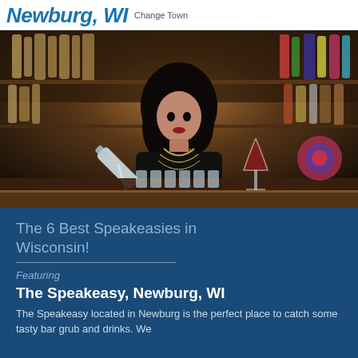Newburg, WI Change Town
[Figure (photo): Female bartender in black outfit with layered necklaces, pouring a clear spirit from a bottle over a row of shot glasses on a bar counter. Background shows shelves filled with liquor bottles. A wine glass is visible to her right.]
The 6 Best Speakeasies in Wisconsin!
Featuring
The Speakeasy, Newburg, WI
The Speakeasy located in Newburg is the perfect place to catch some tasty bar grub and drinks. We